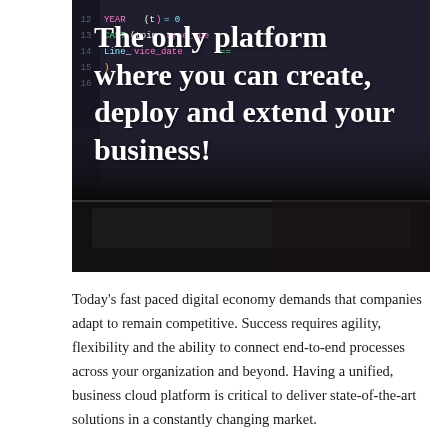[Figure (photo): Dark laptop/screen showing colorful code (SQL-like syntax highlighted in pink, yellow, teal on dark background), viewed from above at an angle. Overlaid with bold white title text.]
The only platform where you can create, deploy and extend your business!
Today's fast paced digital economy demands that companies adapt to remain competitive. Success requires agility, flexibility and the ability to connect end-to-end processes across your organization and beyond. Having a unified, business cloud platform is critical to deliver state-of-the-art solutions in a constantly changing market.